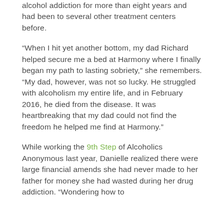alcohol addiction for more than eight years and had been to several other treatment centers before.
“When I hit yet another bottom, my dad Richard helped secure me a bed at Harmony where I finally began my path to lasting sobriety,” she remembers. “My dad, however, was not so lucky. He struggled with alcoholism my entire life, and in February 2016, he died from the disease. It was heartbreaking that my dad could not find the freedom he helped me find at Harmony.”
While working the 9th Step of Alcoholics Anonymous last year, Danielle realized there were large financial amends she had never made to her father for money she had wasted during her drug addiction. “Wondering how to